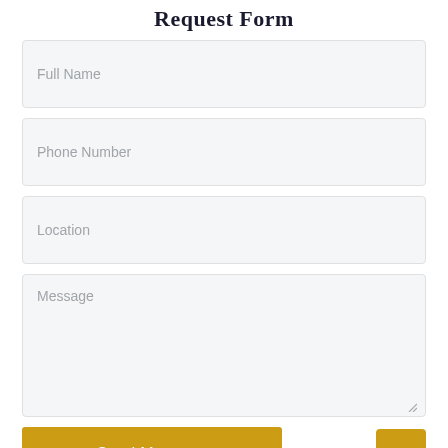Request Form
Full Name
Phone Number
Location
Message
Send Message